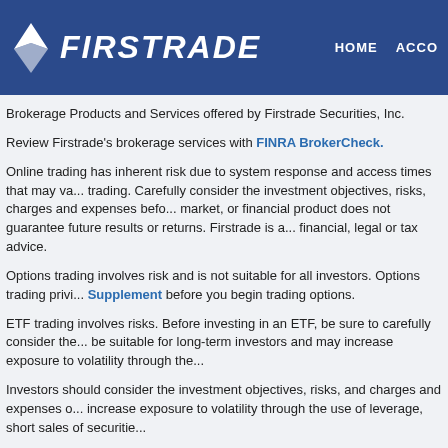FIRSTRADE  HOME  ACCO
Brokerage Products and Services offered by Firstrade Securities, Inc.
Review Firstrade's brokerage services with FINRA BrokerCheck.
Online trading has inherent risk due to system response and access times that may va... trading. Carefully consider the investment objectives, risks, charges and expenses befo... market, or financial product does not guarantee future results or returns. Firstrade is a... financial, legal or tax advice.
Options trading involves risk and is not suitable for all investors. Options trading privi... Supplement before you begin trading options.
ETF trading involves risks. Before investing in an ETF, be sure to carefully consider the... be suitable for long-term investors and may increase exposure to volatility through the...
Investors should consider the investment objectives, risks, and charges and expenses o... increase exposure to volatility through the use of leverage, short sales of securitie...